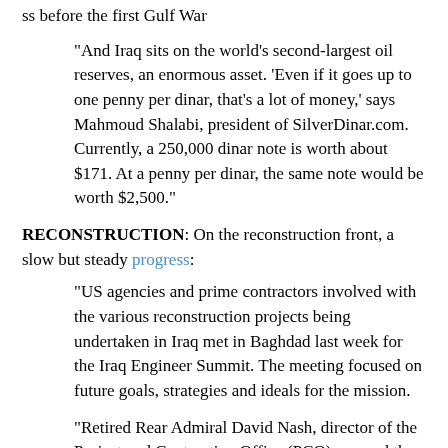ss before the first Gulf War
"And Iraq sits on the world's second-largest oil reserves, an enormous asset. 'Even if it goes up to one penny per dinar, that's a lot of money,' says Mahmoud Shalabi, president of SilverDinar.com. Currently, a 250,000 dinar note is worth about $171. At a penny per dinar, the same note would be worth $2,500."
RECONSTRUCTION: On the reconstruction front, a slow but steady progress:
"US agencies and prime contractors involved with the various reconstruction projects being undertaken in Iraq met in Baghdad last week for the Iraq Engineer Summit. The meeting focused on future goals, strategies and ideals for the mission.
"Retired Rear Admiral David Nash, director of the Project and Contracting Office (PCO), opened the event by stating that current reconstruction efforts are occurring at rapid speeds. 'The effort is the fastest ever moved in the history of the world. We are doing $50